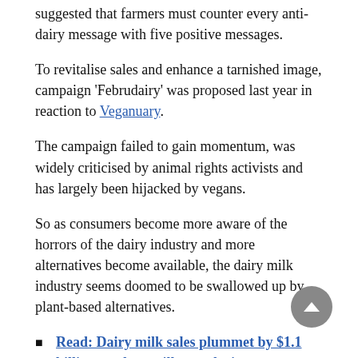suggested that farmers must counter every anti-dairy message with five positive messages.
To revitalise sales and enhance a tarnished image, campaign 'Februdairy' was proposed last year in reaction to Veganuary.
The campaign failed to gain momentum, was widely criticised by animal rights activists and has largely been hijacked by vegans.
So as consumers become more aware of the horrors of the dairy industry and more alternatives become available, the dairy milk industry seems doomed to be swallowed up by plant-based alternatives.
Read: Dairy milk sales plummet by $1.1 billion as plant milk popularity soars